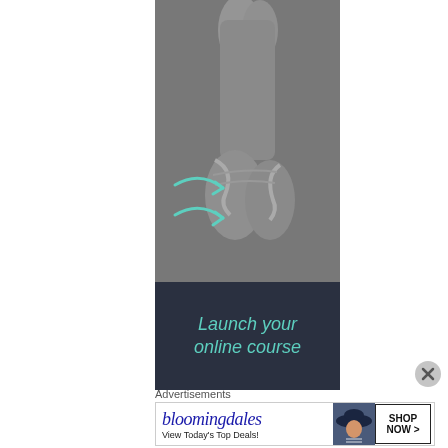[Figure (photo): Close-up photo of ballet dancer feet in pointe shoes, grayscale with teal/mint arrows overlaid pointing to the feet. Dark navy banner at bottom with italic teal text 'Launch your online course' and partially visible next line.]
Advertisements
[Figure (screenshot): Bloomingdales advertisement banner: logo text 'bloomingdales' in italic blue serif font, tagline 'View Today's Top Deals!', photo of woman in large brimmed hat, and 'SHOP NOW >' button.]